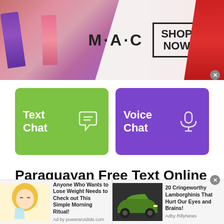[Figure (screenshot): MAC cosmetics advertisement banner with lipsticks, MAC logo, and SHOP NOW box]
[Figure (screenshot): Green Text Chat button with speech bubble icon]
[Figure (screenshot): Purple Voice Chat button with microphone icon]
Paraguayan Free Text Online Chat Rooms
Paraguayan Chat Rooms is one of the most
[Figure (screenshot): Bottom ad: Anyone Who Wants to Lose Weight Needs to Check out This Simple Morning Ritual! Ad by powerarotdide.com]
[Figure (screenshot): Bottom ad: 20 Cringeworthy Lamborghinis That Hurt Our Eyes and Brains! Adby RillyNews]